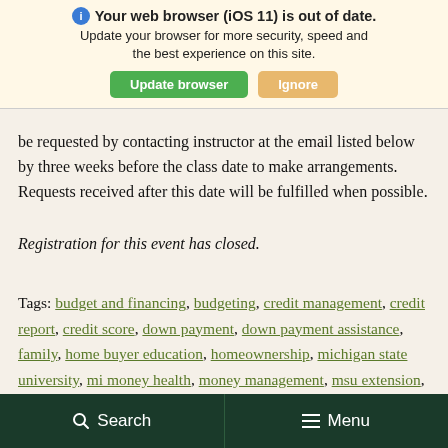Cancellations received less than 24 hours prior to the event start date will not be refunded.
[Figure (screenshot): Browser warning banner overlaying the page: 'Your web browser (iOS 11) is out of date. Update your browser for more security, speed and the best experience on this site.' with 'Update browser' (green button) and 'Ignore' (orange button).]
Accommodations for individuals with disabilities may be requested by contacting instructor at the email listed below by three weeks before the class date to make arrangements. Requests received after this date will be fulfilled when possible.
Registration for this event has closed.
Tags: budget and financing, budgeting, credit management, credit report, credit score, down payment, down payment assistance, family, home buyer education, homeownership, michigan state university, mi money health, money management, msu extension, scholarships, virtual
Search   Menu